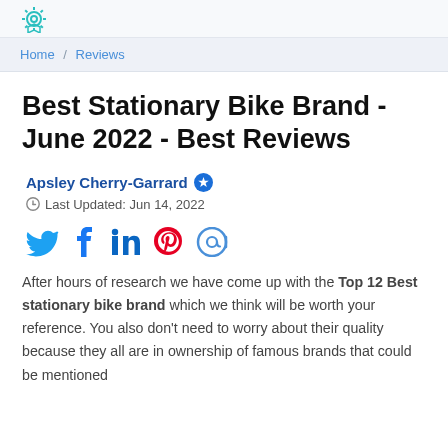[Logo icon]
Home / Reviews
Best Stationary Bike Brand - June 2022 - Best Reviews
Apsley Cherry-Garrard [verified] Last Updated: Jun 14, 2022
[Figure (infographic): Social share icons: Twitter (blue bird), Facebook (dark blue f), LinkedIn (dark blue in), Pinterest (red P), Email (blue @)]
After hours of research we have come up with the Top 12 Best stationary bike brand which we think will be worth your reference. You also don't need to worry about their quality because they all are in ownership of famous brands that could be mentioned